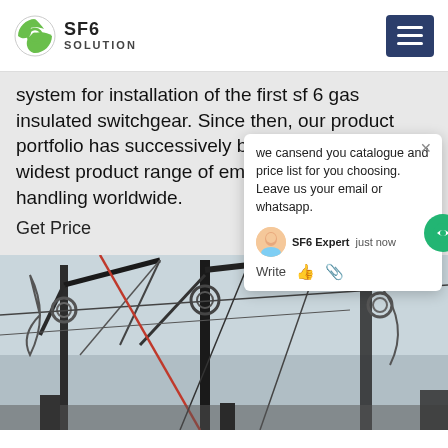SF6 SOLUTION
system for installation of the first sf 6 gas insulated switchgear. Since then, our product portfolio has successively been developed to the widest product range of emission free gas handling worldwide.
Get Price
we can send you catalogue and price list for you choosing.
Leave us your email or whatsapp.
SF6 Expert   just now
Write
[Figure (photo): Photograph of electrical switchgear infrastructure with cranes, cables, wires, insulators and high-voltage equipment against a cloudy sky]